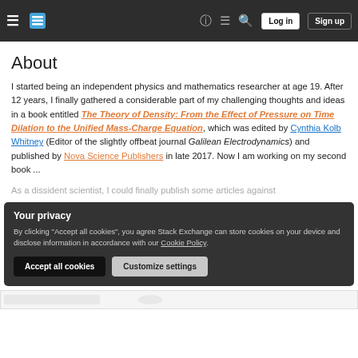Stack Exchange navigation bar with hamburger menu, logo, help, chat, search, Log in and Sign up buttons
About
I started being an independent physics and mathematics researcher at age 19. After 12 years, I finally gathered a considerable part of my challenging thoughts and ideas in a book entitled The Theory of Density: From the Effect of Pressure on Time Dilation to the Unified Mass-Charge Equation, which was edited by Cynthia Kolb Whitney (Editor of the slightly offbeat journal Galilean Electrodynamics) and published by Nova Science Publishers in late 2017. Now I am working on my second book ...
As a dissident scientist, I could finally publish some articles against
Your privacy
By clicking "Accept all cookies", you agree Stack Exchange can store cookies on your device and disclose information in accordance with our Cookie Policy.
Accept all cookies
Customize settings